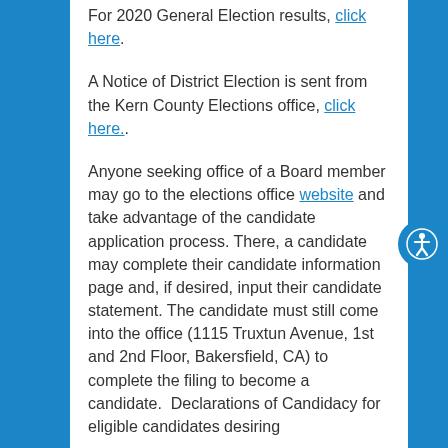For 2020 General Election results, click here.
A Notice of District Election is sent from the Kern County Elections office, click here..
Anyone seeking office of a Board member may go to the elections office website and take advantage of the candidate application process. There, a candidate may complete their candidate information page and, if desired, input their candidate statement. The candidate must still come into the office (1115 Truxtun Avenue, 1st and 2nd Floor, Bakersfield, CA) to complete the filing to become a candidate.  Declarations of Candidacy for eligible candidates desiring